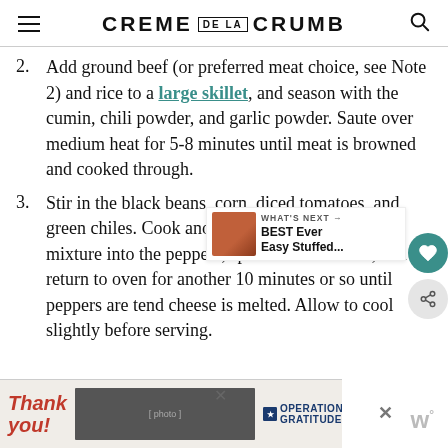CREME DE LA CRUMB
2. Add ground beef (or preferred meat choice, see Note 2) and rice to a large skillet, and season with the cumin, chili powder, and garlic powder. Saute over medium heat for 5-8 minutes until meat is browned and cooked through.
3. Stir in the black beans, corn, diced tomatoes, and green chiles. Cook another 1-2 minutes. Spoon mixture into the peppers, sprinkle with cheese, and return to oven for another 10 minutes or so until peppers are tender and cheese is melted. Allow to cool slightly before serving.
[Figure (screenshot): Advertisement banner at the bottom of the page with 'Thank you!' text and Operation Gratitude branding showing firefighters, with a close button]